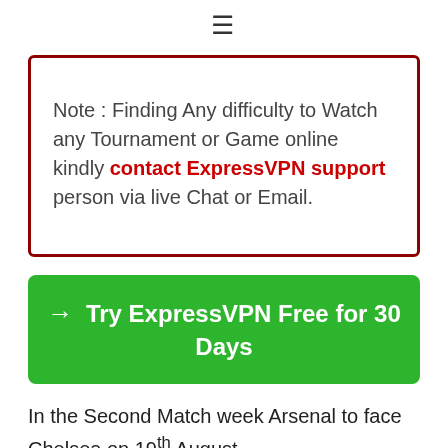≡
Note : Finding Any difficulty to Watch any Tournament or Game online kindly contact ExpressVPN support person via live Chat or Email.
→ Try ExpressVPN Free for 30 Days
In the Second Match week Arsenal to face Chelsea on 19th August